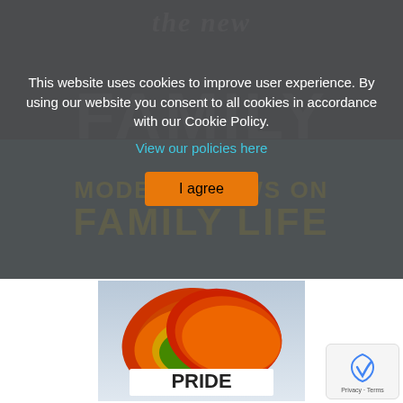[Figure (screenshot): Website screenshot showing a cookie consent overlay over a book cover. The book cover shows 'the new FAMILY' in dark navy at top, and 'MODERN VIEWS ON FAMILY LIFE' in yellow on steel blue at bottom. Overlay has gray background with white text and orange 'I agree' button.]
This website uses cookies to improve user experience. By using our website you consent to all cookies in accordance with our Cookie Policy.
View our policies here
I agree
[Figure (photo): Rainbow pride colored clasped hands with 'PRIDE' text overlay at bottom]
Privacy · Terms